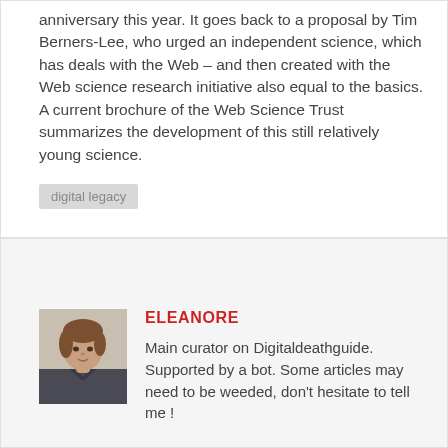anniversary this year. It goes back to a proposal by Tim Berners-Lee, who urged an independent science, which has deals with the Web – and then created with the Web science research initiative also equal to the basics. A current brochure of the Web Science Trust summarizes the development of this still relatively young science.
digital legacy
ELEANORE
Main curator on Digitaldeathguide. Supported by a bot. Some articles may need to be weeded, don't hesitate to tell me !